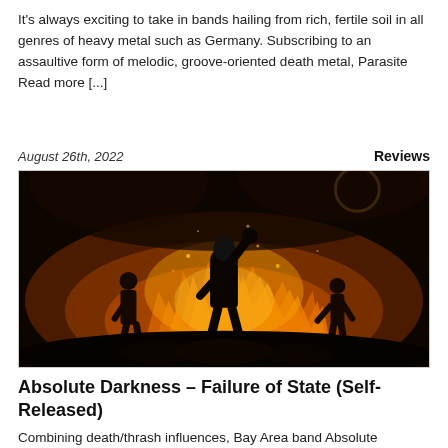It's always exciting to take in bands hailing from rich, fertile soil in all genres of heavy metal such as Germany. Subscribing to an assaultive form of melodic, groove-oriented death metal, Parasite Read more [...]
August 26th, 2022
Reviews
[Figure (photo): Dark album artwork showing a hooded figure with raised fist against a background of flames and fire, with other silhouetted figures visible in the smoke and chaos]
Absolute Darkness – Failure of State (Self-Released)
Combining death/thrash influences, Bay Area band Absolute